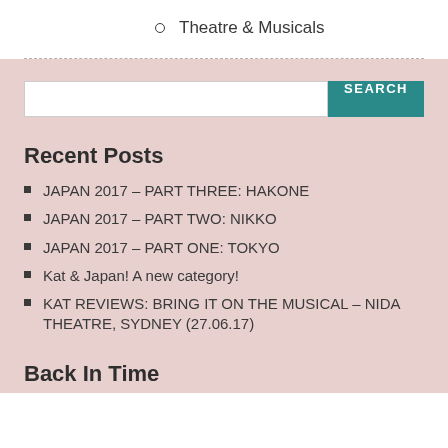Theatre & Musicals
Recent Posts
JAPAN 2017 – PART THREE: HAKONE
JAPAN 2017 – PART TWO: NIKKO
JAPAN 2017 – PART ONE: TOKYO
Kat & Japan! A new category!
KAT REVIEWS: BRING IT ON THE MUSICAL – NIDA THEATRE, SYDNEY (27.06.17)
Back In Time